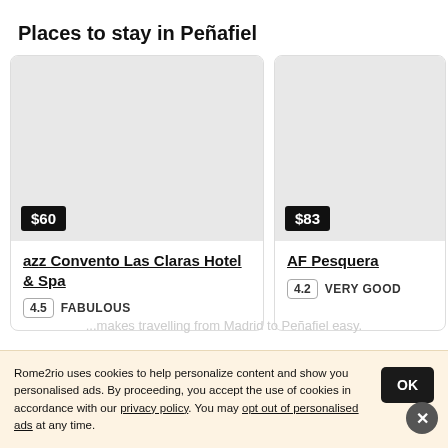Places to stay in Peñafiel
[Figure (photo): Hotel card image placeholder (gray) for azz Convento Las Claras Hotel & Spa, price $60]
azz Convento Las Claras Hotel & Spa
4.5 FABULOUS
[Figure (photo): Hotel card image placeholder (gray) for AF Pesquera, price $83]
AF Pesquera
4.2 VERY GOOD
Rome2rio uses cookies to help personalize content and show you personalised ads. By proceeding, you accept the use of cookies in accordance with our privacy policy. You may opt out of personalised ads at any time.